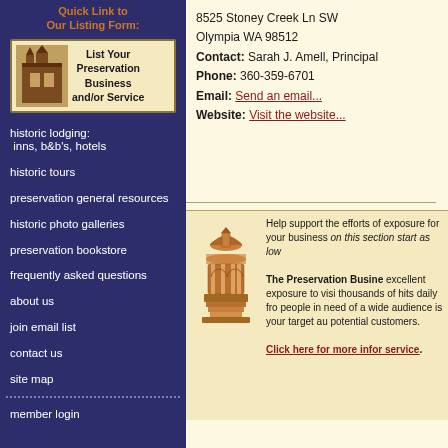Quick Link to Our Listing Form:
[Figure (illustration): Banner ad with historic building image and text: List Your Preservation Business and/or Service]
historic lodging: inns, b&b's, hotels
historic tours
preservation general resources
historic photo galleries
preservation bookstore
frequently asked questions
about us
join email list
contact us
site map
member login
8525 Stoney Creek Ln SW
Olympia WA 98512
Contact: Sarah J. Amell, Principal
Phone: 360-359-6701
Email: Send an email...
Website: Visit the website...
[Figure (illustration): Golden/brown illustration of a historic gazebo or cupola]
Help support the efforts of exposure for your business on this section start as low The Preservation Busine excellent exposure to visi thousands of hits daily fro people in need of a wide audience is your target au potential customers. Click here for more infor service.